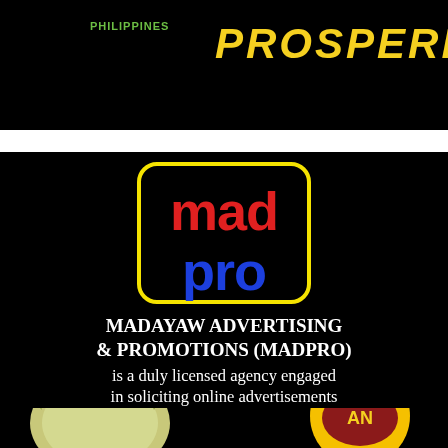[Figure (logo): Top black banner with PHILIPPINES text in green and PROSPERITY text in yellow italic bold on black background]
[Figure (logo): madpro logo in yellow-bordered rounded rectangle: 'mad' in red and 'pro' in blue bold text on black background]
MADAYAW ADVERTISING & PROMOTIONS (MADPRO) is a duly licensed agency engaged in soliciting online advertisements for the websites
[Figure (illustration): Durian fruit illustration on the bottom left and a circular logo on the bottom right]